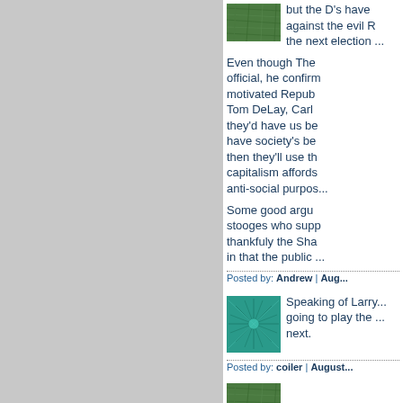but the D's have ... against the evil R... the next election ...
Even though The... official, he confirm... motivated Repub... Tom DeLay, Carl... they'd have us be... have society's be... then they'll use th... capitalism affords... anti-social purpos...
Some good argu... stooges who supp... thankfuly the Sha... in that the public ...
Posted by: Andrew | Aug...
Speaking of Larry... going to play the ... next.
Posted by: coiler | August...
[Figure (illustration): Small green textured avatar image at top]
[Figure (illustration): Teal sunburst/leaf pattern avatar image in middle]
[Figure (illustration): Small green textured avatar image at bottom]